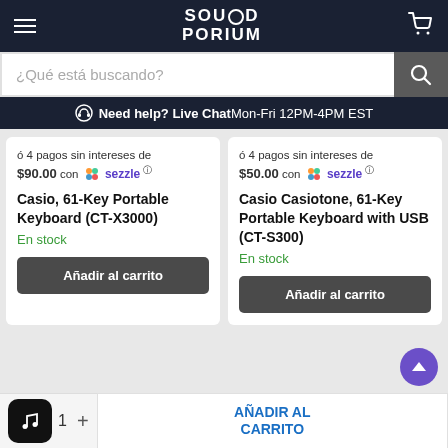SOUNDPORIUM
¿Qué está buscando?
Need help? Live Chat Mon-Fri 12PM-4PM EST
ó 4 pagos sin intereses de $90.00 con sezzle — Casio, 61-Key Portable Keyboard (CT-X3000) — En stock
ó 4 pagos sin intereses de $50.00 con sezzle — Casio Casiotone, 61-Key Portable Keyboard with USB (CT-S300) — En stock
Añadir al carrito
Añadir al carrito
AÑADIR AL CARRITO